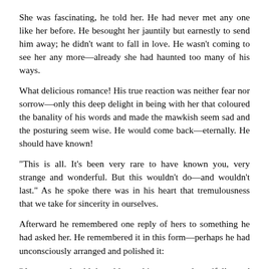She was fascinating, he told her. He had never met any one like her before. He besought her jauntily but earnestly to send him away; he didn’t want to fall in love. He wasn’t coming to see her any more—already she had haunted too many of his ways.
What delicious romance! His true reaction was neither fear nor sorrow—only this deep delight in being with her that coloured the banality of his words and made the mawkish seem sad and the posturing seem wise. He would come back—eternally. He should have known!
“This is all. It’s been very rare to have known you, very strange and wonderful. But this wouldn’t do—and wouldn’t last.” As he spoke there was in his heart that tremulousness that we take for sincerity in ourselves.
Afterward he remembered one reply of hers to something he had asked her. He remembered it in this form—perhaps he had unconsciously arranged and polished it:
“A woman should be able to kiss a man beautifully and romantically without any desire to be either his wife or his mistress.”
As always when he was with her she seemed to grow